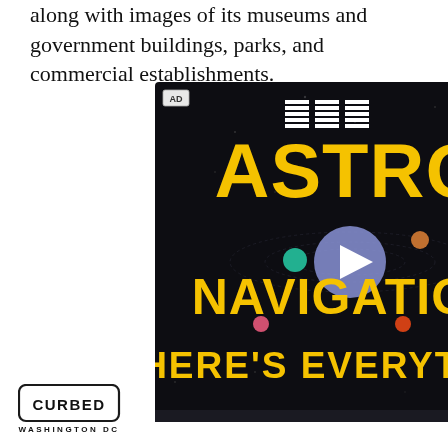along with images of its museums and government buildings, parks, and commercial establishments.
[Figure (screenshot): IBM Astro Navigation advertisement with dark starfield background. Shows IBM logo at top, large yellow 'ASTRO' text, orbital ring diagram with colored planet dots, a play button in center, large yellow 'NAVIGATION' text, and 'HERE'S EVERYTHING' at bottom. Pink badge reading 'AD' in top left corner.]
[Figure (logo): Curbed Washington DC logo: rectangular border with rounded corners containing the word CURBED in bold, with 'WASHINGTON DC' in small caps below]